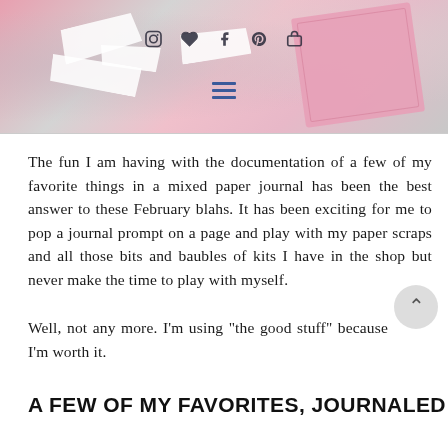[Figure (photo): Top portion of a blog page showing a pink and gray mixed media/paper journal craft photo with social media navigation icons (Instagram, heart/like, Facebook, Pinterest, shopping cart) and a hamburger menu icon overlaid on the image.]
The fun I am having with the documentation of a few of my favorite things in a mixed paper journal has been the best answer to these February blahs. It has been exciting for me to pop a journal prompt on a page and play with my paper scraps and all those bits and baubles of kits I have in the shop but never make the time to play with myself.
Well, not any more. I'm using "the good stuff" because I'm worth it.
A FEW OF MY FAVORITES, JOURNALED